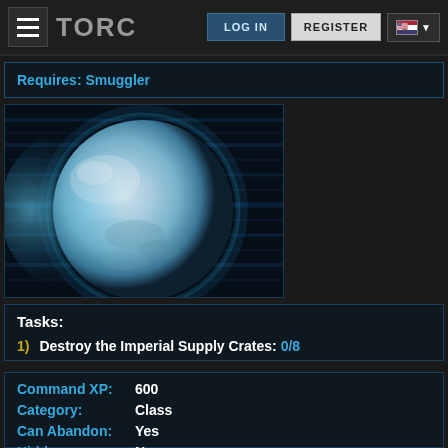TORC | LOG IN | REGISTER
Requires: Smuggler
[Figure (illustration): A large icy/pale blue-white planet in space, rendered in 3D against a dark blue background with horizontal light streaks, a glowing atmosphere on the left side.]
Tasks:
1) Destroy the Imperial Supply Crates: 0/8
Command XP: 600
Category: Class
Can Abandon: Yes
Hidden: No